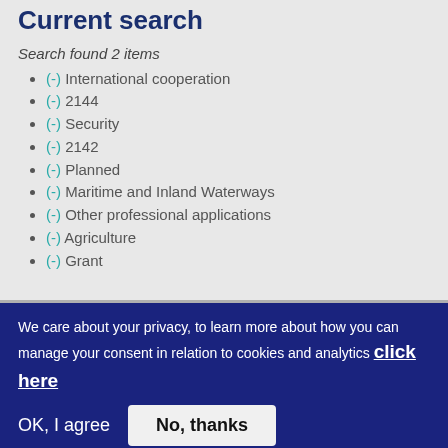Current search
Search found 2 items
(-) International cooperation
(-) 2144
(-) Security
(-) 2142
(-) Planned
(-) Maritime and Inland Waterways
(-) Other professional applications
(-) Agriculture
(-) Grant
We care about your privacy, to learn more about how you can manage your consent in relation to cookies and analytics click here
OK, I agree   No, thanks